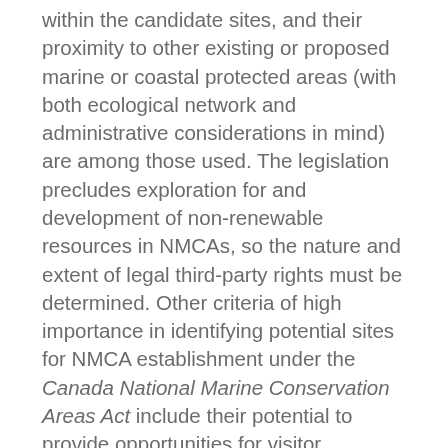within the candidate sites, and their proximity to other existing or proposed marine or coastal protected areas (with both ecological network and administrative considerations in mind) are among those used. The legislation precludes exploration for and development of non-renewable resources in NMCAs, so the nature and extent of legal third-party rights must be determined. Other criteria of high importance in identifying potential sites for NMCA establishment under the Canada National Marine Conservation Areas Act include their potential to provide opportunities for visitor enjoyment and education, and to help foster sustainable coastal communities. Generally speaking, candidate sites that have scored highest in the area-identification stage have emerged at or near the top of this subsequent site-selection step. It is those sites that then